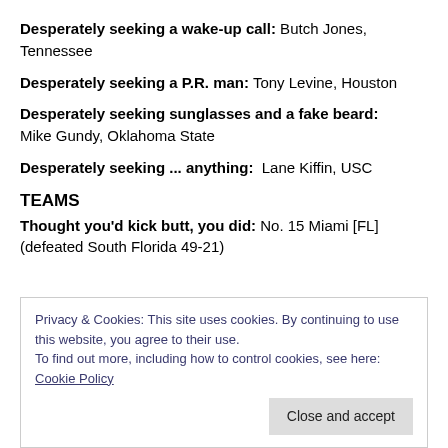Desperately seeking a wake-up call: Butch Jones, Tennessee
Desperately seeking a P.R. man: Tony Levine, Houston
Desperately seeking sunglasses and a fake beard: Mike Gundy, Oklahoma State
Desperately seeking ... anything: Lane Kiffin, USC
TEAMS
Thought you'd kick butt, you did: No. 15 Miami [FL] (defeated South Florida 49-21)
Privacy & Cookies: This site uses cookies. By continuing to use this website, you agree to their use. To find out more, including how to control cookies, see here: Cookie Policy